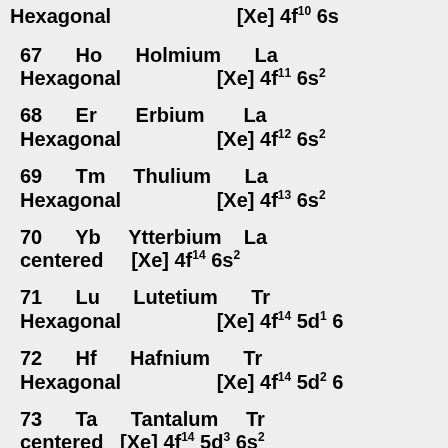Hexagonal   [Xe] 4f10 6s2
67   Ho   Holmium   La...
Hexagonal   [Xe] 4f11 6s2
68   Er   Erbium   La...
Hexagonal   [Xe] 4f12 6s2
69   Tm   Thulium   La...
Hexagonal   [Xe] 4f13 6s2
70   Yb   Ytterbium   La...
centered   [Xe] 4f14 6s2
71   Lu   Lutetium   Tr...
Hexagonal   [Xe] 4f14 5d1 6...
72   Hf   Hafnium   Tr...
Hexagonal   [Xe] 4f14 5d2 6...
73   Ta   Tantalum   Tr...
centered   [Xe] 4f14 5d3 6s2
74   W   Tungsten   Tr...